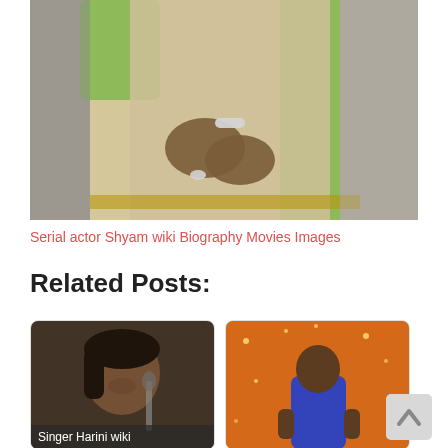[Figure (photo): A person wearing a green and beige/gold saree with bangles, torso and hands visible, photograph cropped to body]
Serial actor Shyam wiki Biography Movies Images
Related Posts:
[Figure (photo): Thumbnail card: Singer Harini wiki - photo of a woman smiling near a microphone]
[Figure (photo): Thumbnail card: A man in a blue shirt with thumbs up on a glittery stage set]